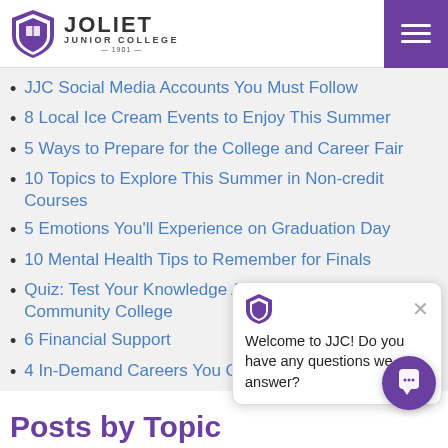[Figure (logo): Joliet Junior College shield logo with text JOLIET JUNIOR COLLEGE 1901]
JJC Social Media Accounts You Must Follow
8 Local Ice Cream Events to Enjoy This Summer
5 Ways to Prepare for the College and Career Fair
10 Topics to Explore This Summer in Non-credit Courses
5 Emotions You'll Experience on Graduation Day
10 Mental Health Tips to Remember for Finals
Quiz: Test Your Knowledge About Community College
6 Financial Support
4 In-Demand Careers You Can Train for at JJC
Welcome to JJC! Do you have any questions we can answer?
Posts by Topic